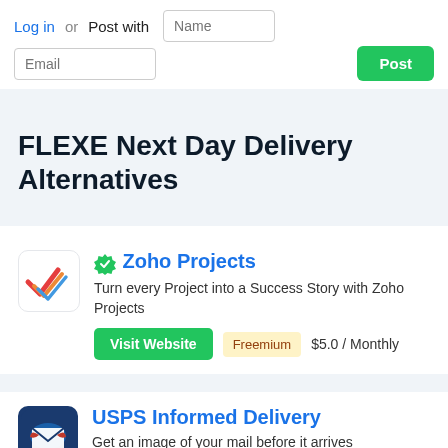Log in or Post with
FLEXE Next Day Delivery Alternatives
Zoho Projects
Turn every Project into a Success Story with Zoho Projects
Visit Website   Freemium   $5.0 / Monthly
USPS Informed Delivery
Get an image of your mail before it arrives